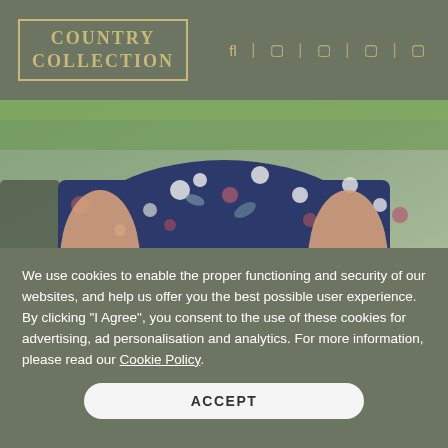COUNTRY COLLECTION
[Figure (photo): Close-up of a woman's torso wearing a navy blue floral dress with pink and white flowers, hands clasped in front, outdoors with blurred green background]
We use cookies to enable the proper functioning and security of our websites, and help us offer you the best possible user experience. By clicking "I Agree", you consent to the use of these cookies for advertising, ad personalisation and analytics. For more information, please read our Cookie Policy.
ACCEPT